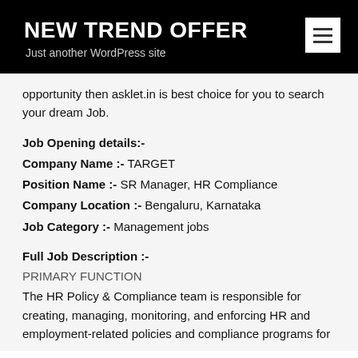NEW TREND OFFER
Just another WordPress site
opportunity then asklet.in is best choice for you to search your dream Job.
Job Opening details:-
Company Name :- TARGET
Position Name :- SR Manager, HR Compliance
Company Location :- Bengaluru, Karnataka
Job Category :- Management jobs
Full Job Description :-
PRIMARY FUNCTION
The HR Policy & Compliance team is responsible for creating, managing, monitoring, and enforcing HR and employment-related policies and compliance programs for